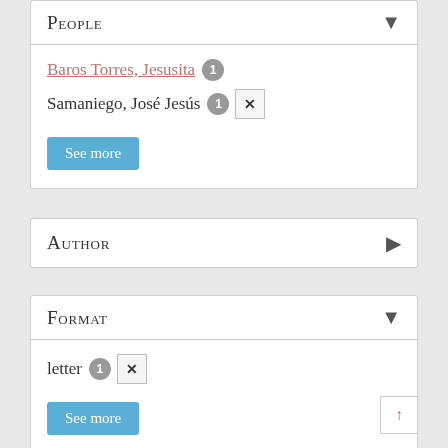People
Baros Torres, Jesusita 1
Samaniego, José Jesús 1 ✕
See more
Author
Format
letter 1 ✕
See more